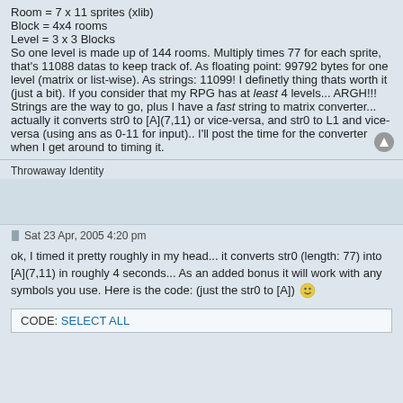Room = 7 x 11 sprites (xlib)
Block = 4x4 rooms
Level = 3 x 3 Blocks
So one level is made up of 144 rooms. Multiply times 77 for each sprite, that's 11088 datas to keep track of. As floating point: 99792 bytes for one level (matrix or list-wise). As strings: 11099! I definetly thing thats worth it (just a bit). If you consider that my RPG has at least 4 levels... ARGH!!! Strings are the way to go, plus I have a fast string to matrix converter... actually it converts str0 to [A](7,11) or vice-versa, and str0 to L1 and vice-versa (using ans as 0-11 for input).. I'll post the time for the converter when I get around to timing it.
Throwaway Identity
Sat 23 Apr, 2005 4:20 pm
ok, I timed it pretty roughly in my head... it converts str0 (length: 77) into [A](7,11) in roughly 4 seconds... As an added bonus it will work with any symbols you use. Here is the code: (just the str0 to [A]) 🙂
CODE: SELECT ALL